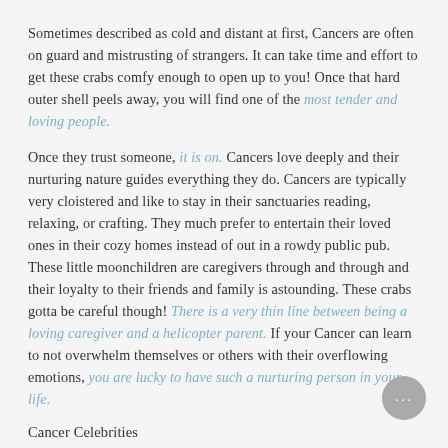Sometimes described as cold and distant at first, Cancers are often on guard and mistrusting of strangers. It can take time and effort to get these crabs comfy enough to open up to you! Once that hard outer shell peels away, you will find one of the most tender and loving people.
Once they trust someone, it is on. Cancers love deeply and their nurturing nature guides everything they do. Cancers are typically very cloistered and like to stay in their sanctuaries reading, relaxing, or crafting. They much prefer to entertain their loved ones in their cozy homes instead of out in a rowdy public pub. These little moonchildren are caregivers through and through and their loyalty to their friends and family is astounding. These crabs gotta be careful though! There is a very thin line between being a loving caregiver and a helicopter parent. If your Cancer can learn to not overwhelm themselves or others with their overflowing emotions, you are lucky to have such a nurturing person in your life.
Cancer Celebrities